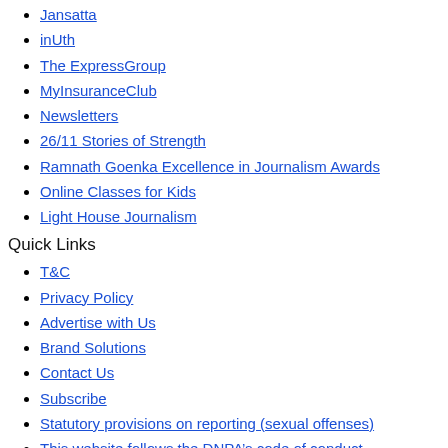Jansatta
inUth
The ExpressGroup
MyInsuranceClub
Newsletters
26/11 Stories of Strength
Ramnath Goenka Excellence in Journalism Awards
Online Classes for Kids
Light House Journalism
Quick Links
T&C
Privacy Policy
Advertise with Us
Brand Solutions
Contact Us
Subscribe
Statutory provisions on reporting (sexual offenses)
This website follows the DNPA's code of conduct
CSR
Copyright © 2022 The Indian Express [P] Ltd. All Rights Reserved
Powered by WordPress.com VIP